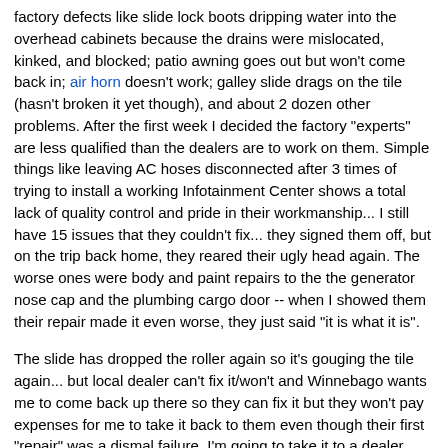factory defects like slide lock boots dripping water into the overhead cabinets because the drains were mislocated, kinked, and blocked; patio awning goes out but won't come back in; air horn doesn't work; galley slide drags on the tile (hasn't broken it yet though), and about 2 dozen other problems. After the first week I decided the factory "experts" are less qualified than the dealers are to work on them. Simple things like leaving AC hoses disconnected after 3 times of trying to install a working Infotainment Center shows a total lack of quality control and pride in their workmanship... I still have 15 issues that they couldn't fix... they signed them off, but on the trip back home, they reared their ugly head again. The worse ones were body and paint repairs to the the generator nose cap and the plumbing cargo door -- when I showed them their repair made it even worse, they just said "it is what it is".
The slide has dropped the roller again so it's gouging the tile again... but local dealer can't fix it/won't and Winnebago wants me to come back up there so they can fix it but they won't pay expenses for me to take it back to them even though their first "repair" was a dismal failure. I'm going to take it to a dealer (LaMesa RV) in AZ next month to see if they will be eager to tackle it and make things right. But I'm on the verge of writing off Winnebago for my next new coach, probably in the fall of 2013.